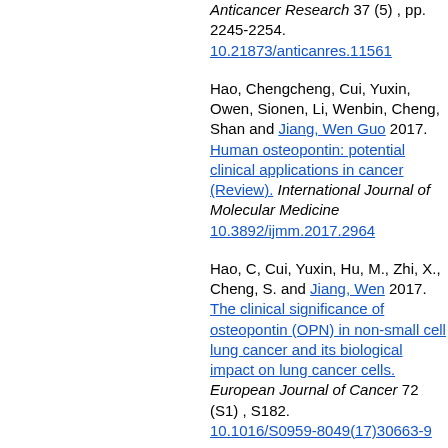Anticancer Research 37 (5) , pp. 2245-2254. 10.21873/anticanres.11561
Hao, Chengcheng, Cui, Yuxin, Owen, Sionen, Li, Wenbin, Cheng, Shan and Jiang, Wen Guo 2017. Human osteopontin: potential clinical applications in cancer (Review). International Journal of Molecular Medicine 10.3892/ijmm.2017.2964
Hao, C, Cui, Yuxin, Hu, M., Zhi, X., Cheng, S. and Jiang, Wen 2017. The clinical significance of osteopontin (OPN) in non-small cell lung cancer and its biological impact on lung cancer cells. European Journal of Cancer 72 (S1) , S182. 10.1016/S0959-8049(17)30663-9